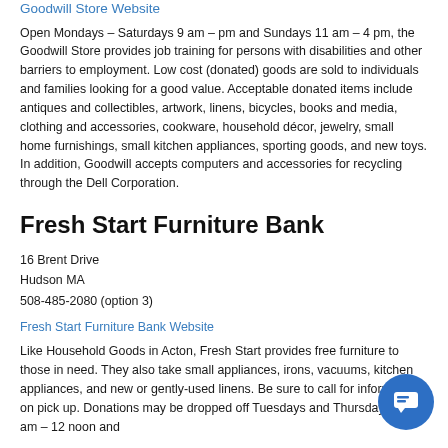Goodwill Store Website
Open Mondays – Saturdays 9 am – pm and Sundays 11 am – 4 pm, the Goodwill Store provides job training for persons with disabilities and other barriers to employment. Low cost (donated) goods are sold to individuals and families looking for a good value. Acceptable donated items include antiques and collectibles, artwork, linens, bicycles, books and media, clothing and accessories, cookware, household décor, jewelry, small home furnishings, small kitchen appliances, sporting goods, and new toys. In addition, Goodwill accepts computers and accessories for recycling through the Dell Corporation.
Fresh Start Furniture Bank
16 Brent Drive
Hudson MA
508-485-2080 (option 3)
Fresh Start Furniture Bank Website
Like Household Goods in Acton, Fresh Start provides free furniture to those in need. They also take small appliances, irons, vacuums, kitchen appliances, and new or gently-used linens. Be sure to call for information on pick up. Donations may be dropped off Tuesdays and Thursdays 10 am – 12 noon and